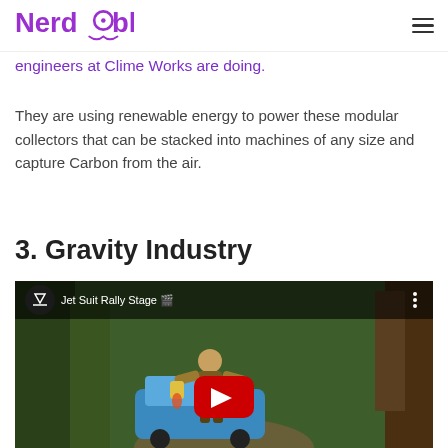Nerdable
engineers at Clime Works are doing.
They are using renewable energy to power these modular collectors that can be stacked into machines of any size and capture Carbon from the air.
3. Gravity Industry
[Figure (screenshot): YouTube video thumbnail for 'Jet Suit Rally Stage' by Gravity Industry, showing a person in a jet suit in a forest rally stage with a blue car, with a red YouTube play button overlay.]